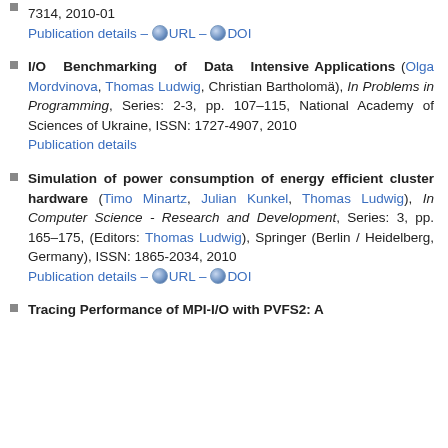7314, 2010-01
Publication details – URL – DOI
I/O Benchmarking of Data Intensive Applications (Olga Mordvinova, Thomas Ludwig, Christian Bartholomä), In Problems in Programming, Series: 2-3, pp. 107–115, National Academy of Sciences of Ukraine, ISSN: 1727-4907, 2010
Publication details
Simulation of power consumption of energy efficient cluster hardware (Timo Minartz, Julian Kunkel, Thomas Ludwig), In Computer Science - Research and Development, Series: 3, pp. 165–175, (Editors: Thomas Ludwig), Springer (Berlin / Heidelberg, Germany), ISSN: 1865-2034, 2010
Publication details – URL – DOI
Tracing Performance of MPI-I/O with PVFS2: A